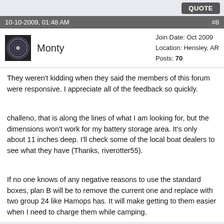QUOTE
10-10-2009, 01:48 AM   #8
Monty   Join Date: Oct 2009  Location: Hensley, AR  Posts: 70
They weren't kidding when they said the members of this forum were responsive. I appreciate all of the feedback so quickly.
challeno, that is along the lines of what I am looking for, but the dimensions won't work for my battery storage area. It's only about 11 inches deep. I'll check some of the local boat dealers to see what they have (Thanks, riverotter55).
If no one knows of any negative reasons to use the standard boxes, plan B will be to remove the current one and replace with two group 24 like Hamops has. It will make getting to them easier when I need to charge them while camping.